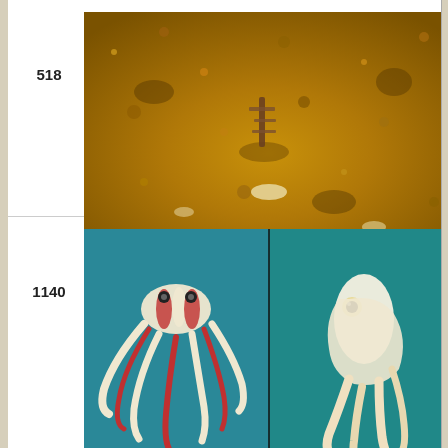Image Type Photo
Image Content Spe
ID 238
518
[Figure (photo): Sandy seafloor with a camouflaged specimen, brownish-orange sandy substrate with a small creature blending in]
Location Darw north Aust
Specimen Condition Live Spe
Copyright © 19 D. N.
Image Use ToL
Attached to Group Ame litora page colle
Title Ame
Image Type Phot
Image Content Spe
ID 518
1140
[Figure (photo): Two-panel image of an octopus with white and red-striped tentacles against teal/blue background, showing ocellate pattern]
Scientific Name Octop
Location Great Reef
Behavior Ocella
Copyright © 199 Norma
Image Use ToL us
Attached to Group Octop strictu (Octop view g
top
Title more